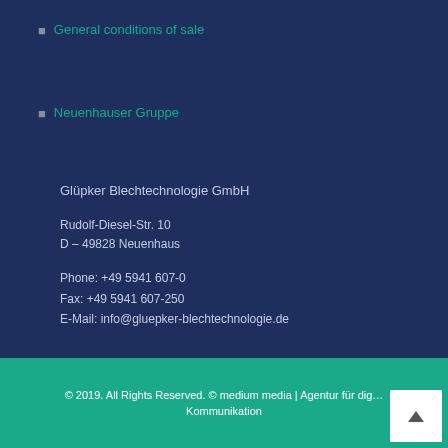General conditions of sale
Neuenhauser Gruppe
Glüpker Blechtechnologie GmbH
Rudolf-Diesel-Str. 10
D – 49828 Neuenhaus
Phone: +49 5941 607-0
Fax: +49 5941 607-250
E-Mail: info@gluepker-blechtechnologie.de
© 2019. All Rights Reserved. © medium media | Agentur für digitale Kommunikation